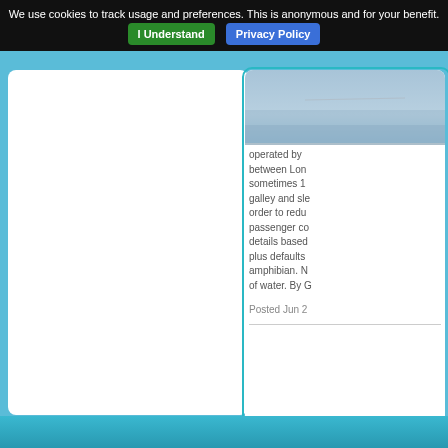We use cookies to track usage and preferences. This is anonymous and for your benefit. I Understand  Privacy Policy
[Figure (photo): Partial view of an aircraft or flying vehicle against a blue hazy sky, cropped at the top of the right panel]
operated by between Lon sometimes 1 galley and sle order to redu passenger co details based plus defaults amphibian. N of water. By G
Posted Jun 2